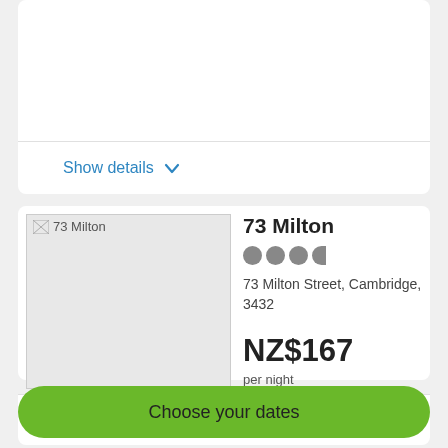Show details ∨
[Figure (photo): Photo of 73 Milton property exterior, shown as broken image placeholder with alt text '73 Milton']
73 Milton
●●●◐ (3.5 star rating)
73 Milton Street, Cambridge, 3432
NZ$167
per night
5 Sep. - 6 Sep..
Show details ∨
Choose your dates